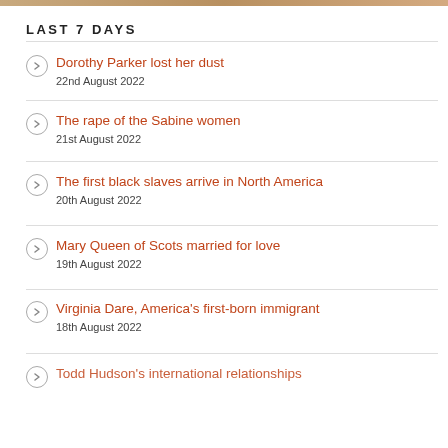[Figure (photo): Partial decorative image strip at top of page]
LAST 7 DAYS
Dorothy Parker lost her dust
22nd August 2022
The rape of the Sabine women
21st August 2022
The first black slaves arrive in North America
20th August 2022
Mary Queen of Scots married for love
19th August 2022
Virginia Dare, America's first-born immigrant
18th August 2022
Todd Hudson's international relationships (partial)